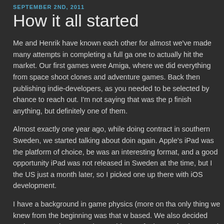SEPTEMBER 2ND, 2011
How it all started
Me and Henrik have known each other for almost we've made many attempts in completing a full ga one to actually hit the market. Our first games were Amiga, where we did everything from space shoot clones and adventure games. Back then publishing indie-developers, as you needed to be selected by chance to reach out. I'm not saying that was the p finish anything, but definitely one of them.
Almost exactly one year ago, while doing contract in southern Sweden, we started talking about doin again. Apple's iPad was the platform of choice, be was an interesting format, and a good opportunity iPad was not released in Sweden at the time, but I the US just a month later, so I picked one up there with iOS development.
I have a background in game physics (more on tha only thing we knew from the beginning was that w based. We also decided early on to make a non-vi something we feel strongly about, and we want